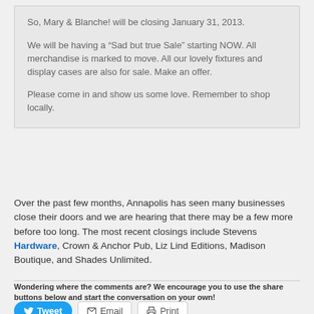So, Mary & Blanche! will be closing January 31, 2013.
We will be having a “Sad but true Sale” starting NOW. All merchandise is marked to move. All our lovely fixtures and display cases are also for sale. Make an offer.
Please come in and show us some love. Remember to shop locally.
Over the past few months, Annapolis has seen many businesses close their doors and we are hearing that there may be a few more before too long. The most recent closings include Stevens Hardware, Crown & Anchor Pub, Liz Lind Editions, Madison Boutique, and Shades Unlimited.
Wondering where the comments are? We encourage you to use the share buttons below and start the conversation on your own!